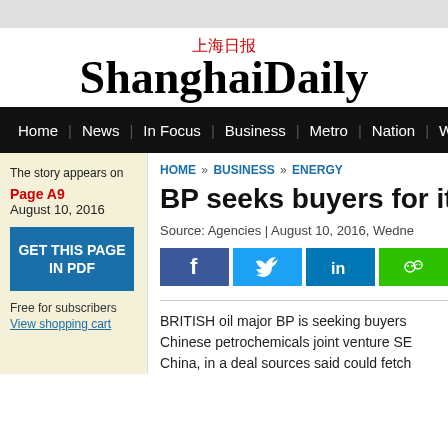上海日报 ShanghaiDaily
Home | News | In Focus | Business | Metro | Nation | Wor
The story appears on
Page A9
August 10, 2016
GET THIS PAGE IN PDF
Free for subscribers
View shopping cart
HOME » BUSINESS » ENERGY
BP seeks buyers for its
Source: Agencies | August 10, 2016, Wedne
[Figure (other): Social sharing buttons: Facebook, Twitter, LinkedIn, WeChat]
BRITISH oil major BP is seeking buyers
Chinese petrochemicals joint venture SE
China, in a deal sources said could fetch